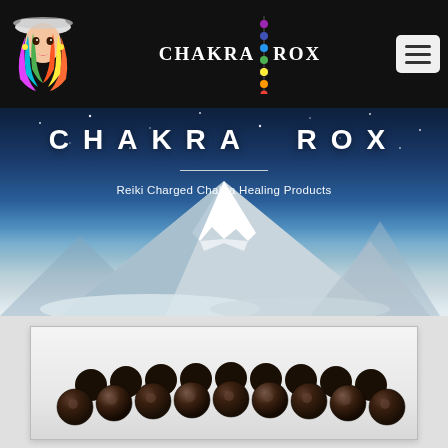[Figure (logo): Chakra Rox website header/navigation bar with colorful cartoon woman logo, brand name 'CHAKRA ROX' with chakra dots, and hamburger menu button on black background]
CHAKRA  ROX
Reiki Charged Chakra Healing Products
[Figure (photo): Mountain peak (Matterhorn) against a night/dusk sky with stars, snow-capped, dramatic landscape used as hero banner background]
[Figure (photo): Dark wooden bead bracelets stacked, shown on light grey/white background in a product card]